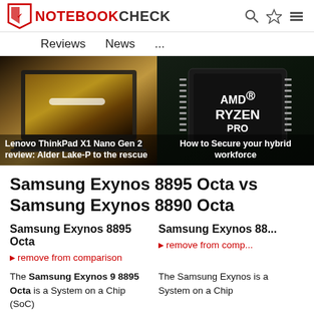NOTEBOOKCHECK — Reviews | News | ...
[Figure (screenshot): Lenovo ThinkPad X1 Nano Gen 2 laptop with cheetah wallpaper on screen]
Lenovo ThinkPad X1 Nano Gen 2 review: Alder Lake-P to the rescue
[Figure (photo): AMD Ryzen Pro chip closeup]
How to Secure your hybrid workforce
Samsung Exynos 8895 Octa vs Samsung Exynos 8890 Octa
Samsung Exynos 8895 Octa
remove from comparison
Samsung Exynos 88...
remove from comp...
The Samsung Exynos 9 8895 Octa is a System on a Chip (SoC)
The Samsung Exynos is a System on a Chip